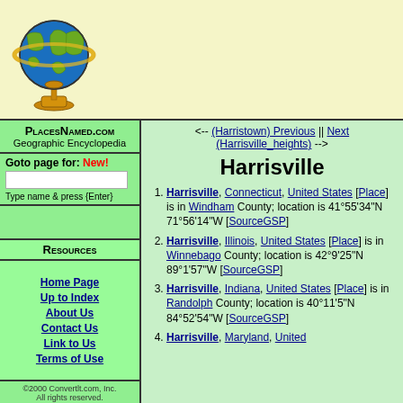[Figure (illustration): Globe illustration showing Earth with green continents on blue oceans, mounted on a golden stand with golden ring/meridian]
PlacesNamed.com
Geographic Encyclopedia
Goto page for: New!
Resources
Home Page
Up to Index
About Us
Contact Us
Link to Us
Terms of Use
©2000 Convertlt.com, Inc. All rights reserved.
<-- (Harristown) Previous || Next (Harrisville_heights) -->
Harrisville
Harrisville, Connecticut, United States [Place] is in Windham County; location is 41°55'34"N 71°56'14"W [SourceGSP]
Harrisville, Illinois, United States [Place] is in Winnebago County; location is 42°9'25"N 89°1'57"W [SourceGSP]
Harrisville, Indiana, United States [Place] is in Randolph County; location is 40°11'5"N 84°52'54"W [SourceGSP]
Harrisville, Maryland, United